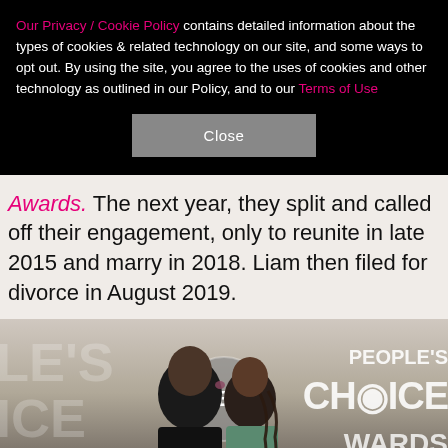Our Privacy / Cookie Policy contains detailed information about the types of cookies & related technology on our site, and some ways to opt out. By using the site, you agree to the uses of cookies and other technology as outlined in our Policy, and to our Terms of Use
Close
Awards. The next year, they split and called off their engagement, only to reunite in late 2015 and marry in 2018. Liam then filed for divorce in August 2019.
[Figure (photo): A couple kissing at the People's Choice Awards backdrop. A man in a dark suit and a woman with braided hair share a kiss in front of the People's Choice Awards step-and-repeat banner showing the CBS logo.]